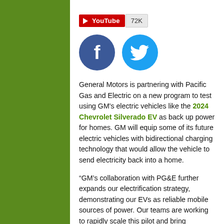[Figure (logo): YouTube subscribe button with 72K count]
[Figure (illustration): Facebook and Twitter social media circular icons side by side]
General Motors is partnering with Pacific Gas and Electric on a new program to test using GM's electric vehicles like the 2024 Chevrolet Silverado EV as back up power for homes. GM will equip some of its future electric vehicles with bidirectional charging technology that would allow the vehicle to send electricity back into a home.
“GM’s collaboration with PG&E further expands our electrification strategy, demonstrating our EVs as reliable mobile sources of power. Our teams are working to rapidly scale this pilot and bring bidirectional charging technology to our customers,” said GM Chair and CEO Mary